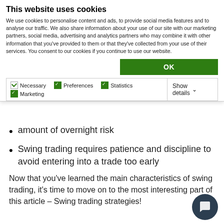This website uses cookies
We use cookies to personalise content and ads, to provide social media features and to analyse our traffic. We also share information about your use of our site with our marketing partners, social media, advertising and analytics partners who may combine it with other information that you've provided to them or that they've collected from your use of their services. You consent to our cookies if you continue to use our website.
OK
Necessary   Preferences   Statistics   Marketing   Show details
amount of overnight risk
Swing trading requires patience and discipline to avoid entering into a trade too early
Now that you've learned the main characteristics of swing trading, it's time to move on to the most interesting part of this article – Swing trading strategies!